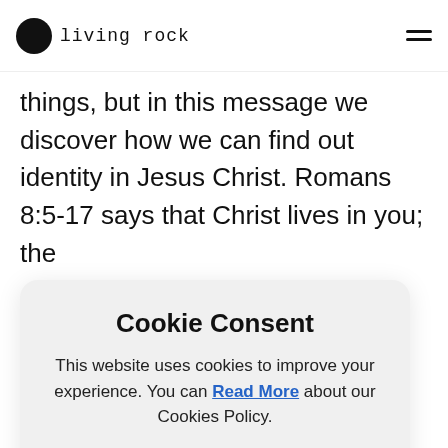living rock
things, but in this message we discover how we can find out identity in Jesus Christ. Romans 8:5-17 says that Christ lives in you; the ... from ... are ... nd we ... you ... n, ... etter. ... r ... ise
Cookie Consent
This website uses cookies to improve your experience. You can Read More about our Cookies Policy.
redeemed from sin and darkness